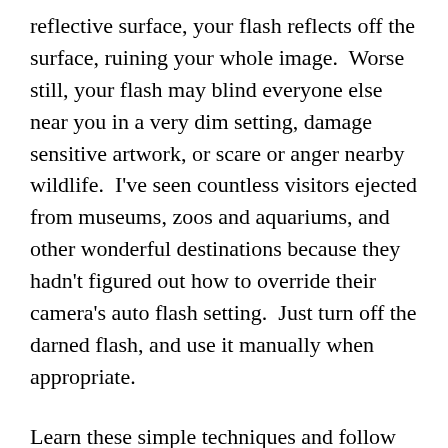reflective surface, your flash reflects off the surface, ruining your whole image.  Worse still, your flash may blind everyone else near you in a very dim setting, damage sensitive artwork, or scare or anger nearby wildlife.  I've seen countless visitors ejected from museums, zoos and aquariums, and other wonderful destinations because they hadn't figured out how to override their camera's auto flash setting.  Just turn off the darned flash, and use it manually when appropriate.
Learn these simple techniques and follow them whenever you shoot, and you'll start making images that stand out from the crowd.  Remember, you, and not the technology inside